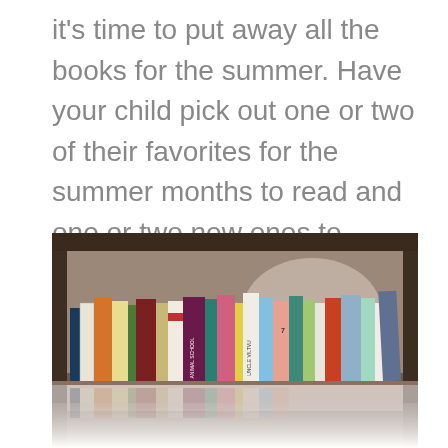it's time to put away all the books for the summer. Have your child pick out one or two of their favorites for the summer months to read and one or two new ones to explore as well. Who knows…they just might find a new favorite book!
[Figure (photo): A row of colorful children's books standing upright on a wooden bookshelf, photographed from the side with a blurred background. Book spines visible include 'Uncle Viltvu' and other titles. The books are reflected in a light-colored surface below.]